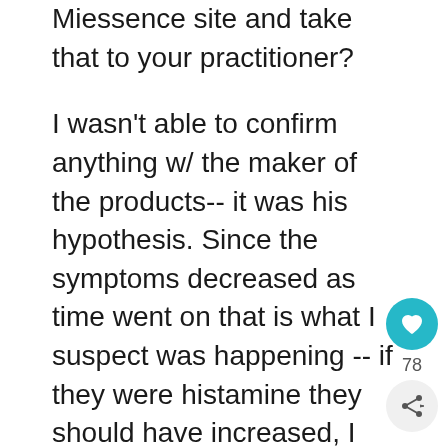Miessence site and take that to your practitioner?
I wasn't able to confirm anything w/ the maker of the products-- it was his hypothesis. Since the symptoms decreased as time went on that is what I suspect was happening -- if they were histamine they should have increased, I think. I am much better now, but I still keep to a fairly (sometimes strictly) low carb diet - for various reasons. I still have work to do. My previous practitioner is on maternity leave and I hope to work with her again soon. I am also working with a homeopath and am hopeful about both of them. I think my candida is particularly